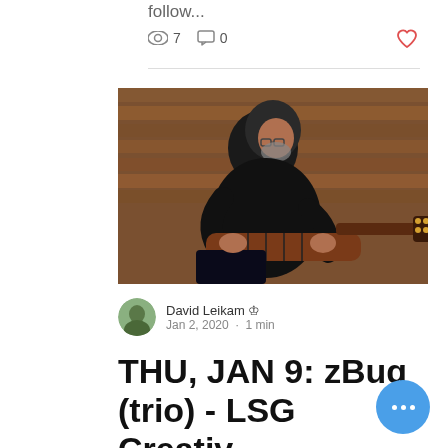follow...
7   0
[Figure (photo): Man dressed in black seated and playing a fretless bass guitar, viewed from above, with a wood plank floor in the background]
David Leikam  Jan 2, 2020 · 1 min
THU, JAN 9: zBug (trio) - LSG Creative